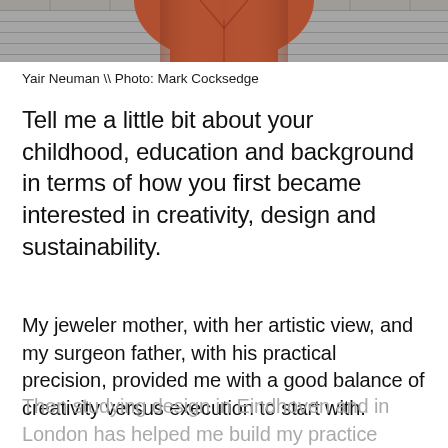[Figure (photo): Partial photo of a person wearing a rust/orange shirt, standing in front of a brick wall. Only the lower torso/upper body visible at top of page.]
Yair Neuman \\ Photo: Mark Cocksedge
Tell me a little bit about your childhood, education and background in terms of how you first became interested in creativity, design and sustainability.
My jeweler mother, with her artistic view, and my surgeon father, with his practical precision, provided me with a good balance of creativity versus execution to start with. Then studying design in Eindhoven and in London has helped me build my practice